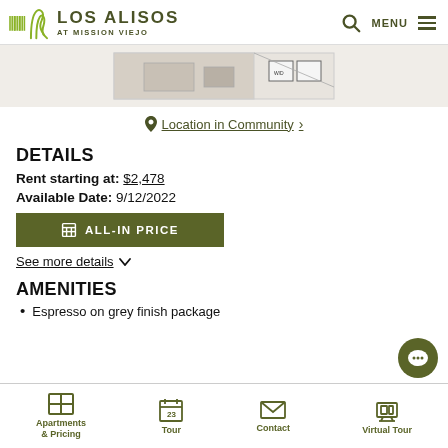LOS ALISOS AT MISSION VIEJO — MENU
[Figure (photo): Partial floorplan image showing a room layout with a washer/dryer area labeled 'W/D']
📍 Location in Community >
DETAILS
Rent starting at: $2,478
Available Date: 9/12/2022
ALL-IN PRICE
See more details
AMENITIES
Espresso on grey finish package
Apartments & Pricing | Tour | Contact | Virtual Tour